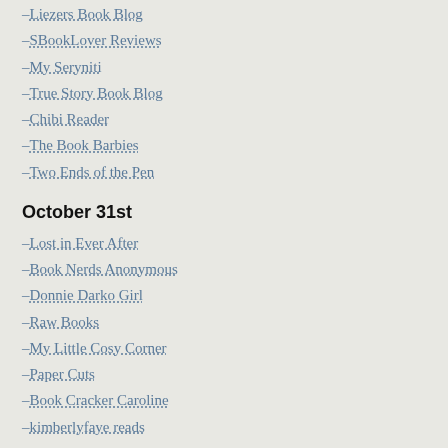–Liezers Book Blog
–SBookLover Reviews
–My Seryniti
–True Story Book Blog
–Chibi Reader
–The Book Barbies
–Two Ends of the Pen
October 31st
–Lost in Ever After
–Book Nerds Anonymous
–Donnie Darko Girl
–Raw Books
–My Little Cosy Corner
–Paper Cuts
–Book Cracker Caroline
–kimberlyfaye reads